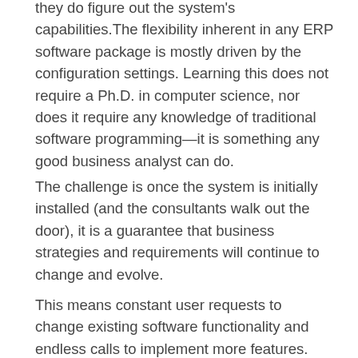they do figure out the system's capabilities. The flexibility inherent in any ERP software package is mostly driven by the configuration settings. Learning this does not require a Ph.D. in computer science, nor does it require any knowledge of traditional software programming—it is something any good business analyst can do.
The challenge is once the system is initially installed (and the consultants walk out the door), it is a guarantee that business strategies and requirements will continue to change and evolve.
This means constant user requests to change existing software functionality and endless calls to implement more features.